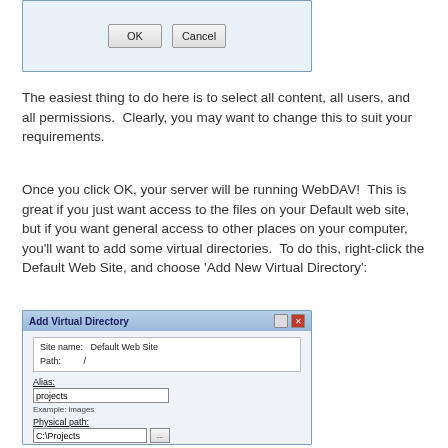[Figure (screenshot): Bottom portion of a dialog box showing OK and Cancel buttons]
The easiest thing to do here is to select all content, all users, and all permissions.  Clearly, you may want to change this to suit your requirements.
Once you click OK, your server will be running WebDAV!  This is great if you just want access to the files on your Default web site, but if you want general access to other places on your computer, you'll want to add some virtual directories.  To do this, right-click the Default Web Site, and choose 'Add New Virtual Directory':
[Figure (screenshot): Add Virtual Directory dialog showing Site name: Default Web Site, Path: /, Alias: projects, Example: images, Physical path: C:\Projects with browse button, Pass-through authentication]